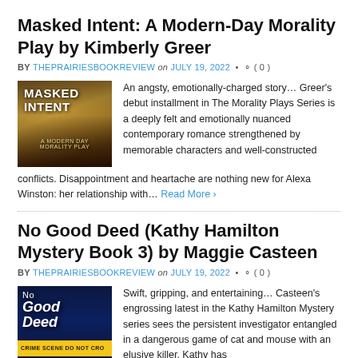Masked Intent: A Modern-Day Morality Play by Kimberly Greer
BY THEPRAIRIESBOOKREVIEW on JULY 19, 2022 • ( 0 )
[Figure (illustration): Book cover for Masked Intent: A Modern-Day Morality Play, featuring a golden jewelry/pearls on dark warm background]
An angsty, emotionally-charged story… Greer's debut installment in The Morality Plays Series is a deeply felt and emotionally nuanced contemporary romance strengthened by memorable characters and well-constructed conflicts. Disappointment and heartache are nothing new for Alexa Winston: her relationship with… Read More ›
No Good Deed (Kathy Hamilton Mystery Book 3) by Maggie Casteen
BY THEPRAIRIESBOOKREVIEW on JULY 19, 2022 • ( 0 )
[Figure (illustration): Book cover for No Good Deed, dark blue background with white title text and crime scene tape at bottom]
Swift, gripping, and entertaining… Casteen's engrossing latest in the Kathy Hamilton Mystery series sees the persistent investigator entangled in a dangerous game of cat and mouse with an elusive killer. Kathy has